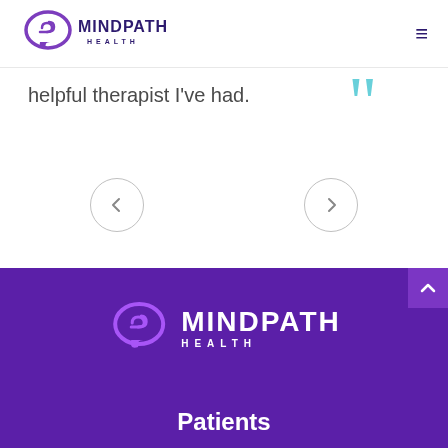[Figure (logo): Mindpath Health logo with purple chat bubble icon and text MINDPATH HEALTH]
helpful therapist I've had.
[Figure (illustration): Teal/cyan decorative closing quotation marks icon]
[Figure (illustration): Left navigation arrow circle button]
[Figure (illustration): Right navigation arrow circle button]
[Figure (logo): Mindpath Health logo white version on purple background]
Patients